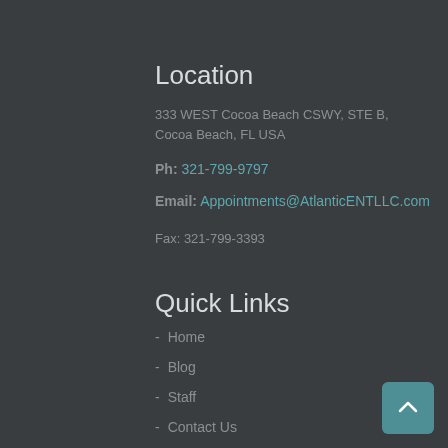Location
333 WEST Cocoa Beach CSWY, STE B, Cocoa Beach, FL USA
Ph: 321-799-9797
Email: Appointments@AtlanticENTLLC.com
Fax: 321-799-3393
Quick Links
- Home
- Blog
- Staff
- Contact Us
- About Us